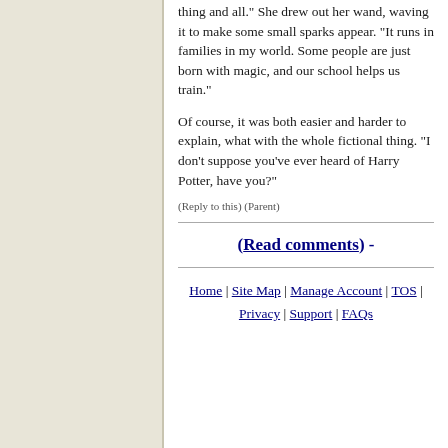thing and all." She drew out her wand, waving it to make some small sparks appear. "It runs in families in my world. Some people are just born with magic, and our school helps us train."
Of course, it was both easier and harder to explain, what with the whole fictional thing. "I don't suppose you've ever heard of Harry Potter, have you?"
(Reply to this) (Parent)
(Read comments) -
Home | Site Map | Manage Account | TOS | Privacy | Support | FAQs